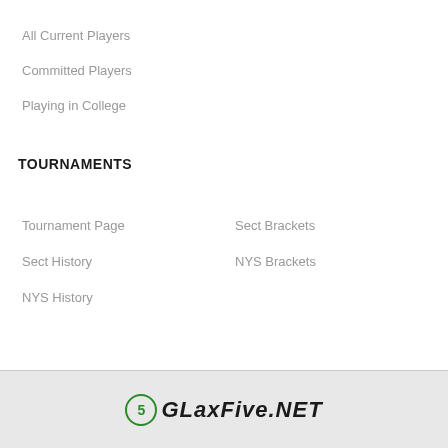All Current Players
Committed Players
Playing in College
TOURNAMENTS
Tournament Page
Sect Brackets
Sect History
NYS Brackets
NYS History
[Figure (logo): GLaxFive.NET logo with green circled 5 and bold italic text]